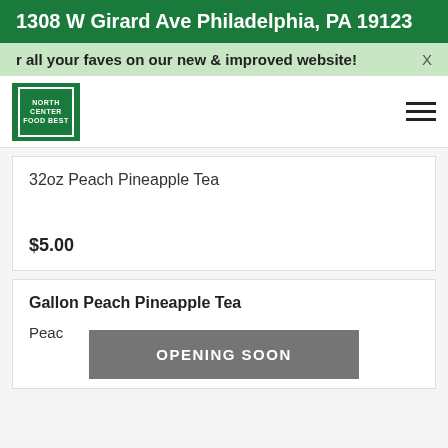1308 W Girard Ave Philadelphia, PA 19123
r all your faves on our new & improved website! X
[Figure (logo): North Center Food Best logo in green square with white border]
32oz Peach Pineapple Tea
$5.00
Gallon Peach Pineapple Tea
Peach
OPENING SOON